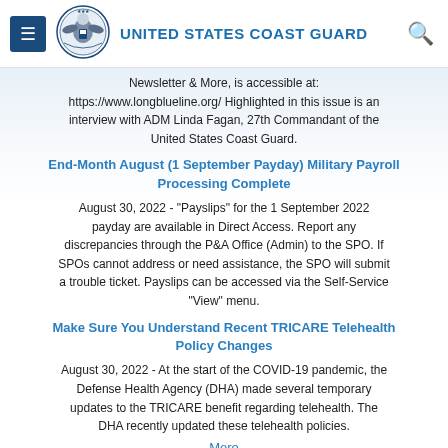United States Coast Guard
Newsletter & More, is accessible at: https://www.longblueline.org/ Highlighted in this issue is an interview with ADM Linda Fagan, 27th Commandant of the United States Coast Guard.
End-Month August (1 September Payday) Military Payroll Processing Complete
August 30, 2022 - "Payslips" for the 1 September 2022 payday are available in Direct Access. Report any discrepancies through the P&A Office (Admin) to the SPO. If SPOs cannot address or need assistance, the SPO will submit a trouble ticket. Payslips can be accessed via the Self-Service "View" menu.
Make Sure You Understand Recent TRICARE Telehealth Policy Changes
August 30, 2022 - At the start of the COVID-19 pandemic, the Defense Health Agency (DHA) made several temporary updates to the TRICARE benefit regarding telehealth. The DHA recently updated these telehealth policies.
More